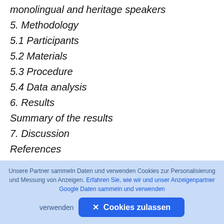monolingual and heritage speakers
5. Methodology
5.1 Participants
5.2 Materials
5.3 Procedure
5.4 Data analysis
6. Results
Summary of the results
7. Discussion
References
Chapter 10. Comprehension of Differential Object Marking by Hindi heritage speakers
1. Introduction
2. Differential object marking in Hindi
Unsere Partner sammeln Daten und verwenden Cookies zur Personalisierung und Messung von Anzeigen. Erfahren Sie, wie wir und unser Anzeigenpartner Google Daten sammeln und verwenden
verwenden   ✕ Cookies zulassen